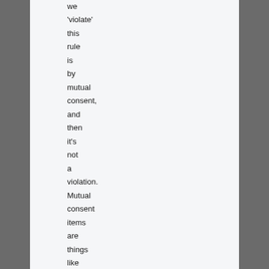we 'violate' this rule is by mutual consent, and then it's not a violation. Mutual consent items are things like having tickets to a play, any other appointments we both